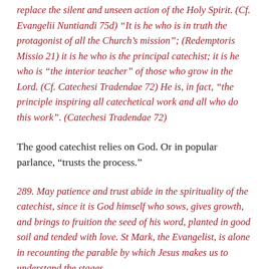replace the silent and unseen action of the Holy Spirit. (Cf. Evangelii Nuntiandi 75d) “It is he who is in truth the protagonist of all the Church’s mission”; (Redemptoris Missio 21) it is he who is the principal catechist; it is he who is “the interior teacher” of those who grow in the Lord. (Cf. Catechesi Tradendae 72) He is, in fact, “the principle inspiring all catechetical work and all who do this work”. (Catechesi Tradendae 72)
The good catechist relies on God. Or in popular parlance, “trusts the process.”
289. May patience and trust abide in the spirituality of the catechist, since it is God himself who sows, gives growth, and brings to fruition the seed of his word, planted in good soil and tended with love. St Mark, the Evangelist, is alone in recounting the parable by which Jesus makes us to understand the stages